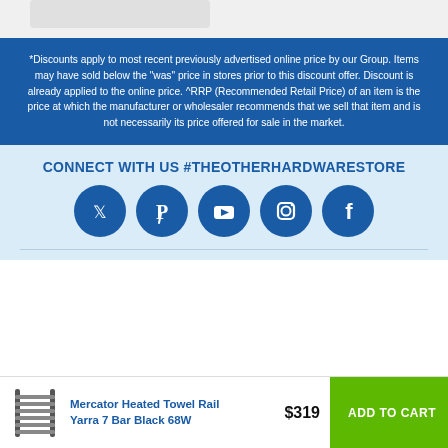*Discounts apply to most recent previously advertised online price by our Group. Items may have sold below the "was" price in stores prior to this discount offer. Discount is already applied to the online price. ^RRP (Recommended Retail Price) of an item is the price at which the manufacturer or wholesaler recommends that we sell that item and is not necessarily its price offered for sale in the market.
CONNECT WITH US #THEOTHERHARDWARESTORE
[Figure (other): Social media icons in blue circles: Twitter/X, Pinterest, YouTube, Instagram, Facebook]
Mercator Heated Towel Rail Yarra 7 Bar Black 68W  $319  ADD TO CART